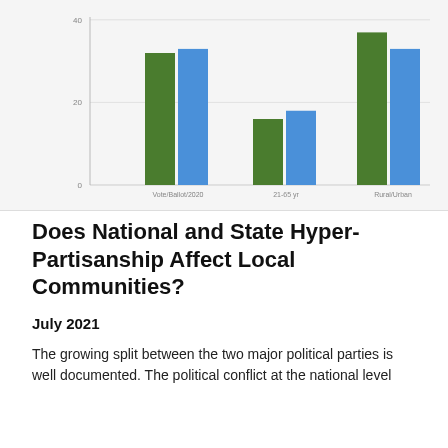[Figure (grouped-bar-chart): ]
Does National and State Hyper-Partisanship Affect Local Communities?
July 2021
The growing split between the two major political parties is well documented. The political conflict at the national level